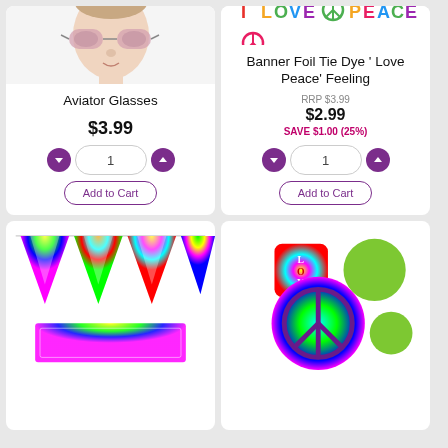[Figure (photo): Man wearing aviator sunglasses with pink/rose tinted lenses, white background]
Aviator Glasses
$3.99
Add to Cart
[Figure (photo): Colorful 'Love Peace' tie-dye foil banner text in rainbow colors]
Banner Foil Tie Dye ' Love Peace' Feeling
RRP $3.99
$2.99
SAVE $1.00 (25%)
Add to Cart
[Figure (photo): Tie-dye triangular pennant banner bunting in rainbow colors with a smaller rectangular piece below]
[Figure (photo): Tie-dye themed party accessories including a 'LOVE' block, peace sign medallion, and green circular item]